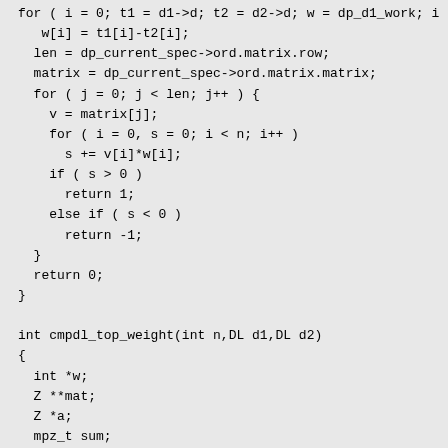for ( i = 0; t1 = d1->d; t2 = d2->d; w = dp_d1_work; i
   w[i] = t1[i]-t2[i];
  len = dp_current_spec->ord.matrix.row;
  matrix = dp_current_spec->ord.matrix.matrix;
  for ( j = 0; j < len; j++ ) {
    v = matrix[j];
    for ( i = 0, s = 0; i < n; i++ )
      s += v[i]*w[i];
    if ( s > 0 )
      return 1;
    else if ( s < 0 )
      return -1;
  }
  return 0;
}

int cmpdl_top_weight(int n,DL d1,DL d2)
{
  int *w;
  Z **mat;
  Z *a;
  mpz_t sum;
  int len,i,sgn,tsgn,row,k;
  int *t1,*t2;

  w = (int *)ALLOCA(n*sizeof(int));
  len = current_top_weight_len+3;
  t1 = d1->d; t2 = d2->d;
  for ( i = 0; i < n; i++ ) w[i] = t1[i]-t2[i];
  mpz_init_set_ui(sum,0);
  if ( OID(current_top_weight) == O_VECT ) {